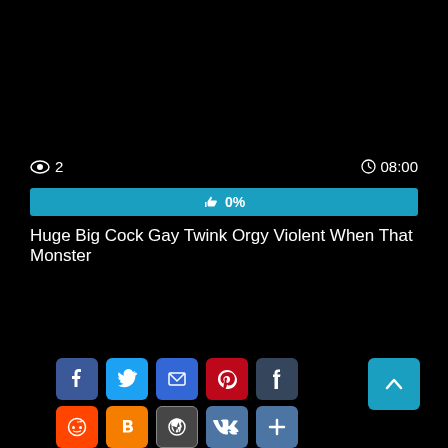👁 2   🕐 08:00
[Figure (infographic): Progress bar showing 0% with thumbs up icon, cyan/blue colored]
Huge Big Cock Gay Twink Orgy Violent When That Monster
[Figure (infographic): Social media sharing buttons: Facebook, Twitter, Email, Pinterest, Tumblr, Reddit, Blogger, WordPress, VK, More; plus a scroll-to-top button]